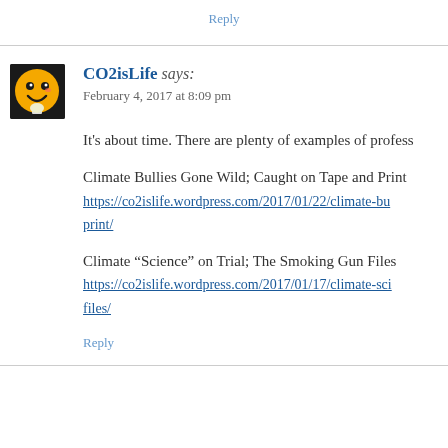Reply
CO2isLife says:
February 4, 2017 at 8:09 pm
It's about time. There are plenty of examples of profess
Climate Bullies Gone Wild; Caught on Tape and Print
https://co2islife.wordpress.com/2017/01/22/climate-bu...print/
Climate “Science” on Trial; The Smoking Gun Files
https://co2islife.wordpress.com/2017/01/17/climate-sci...files/
Reply